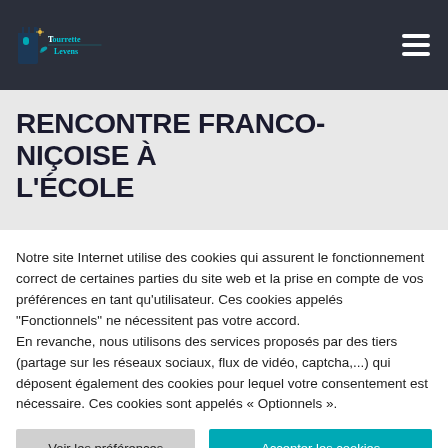Tourrette-Levens [logo + navigation]
RENCONTRE FRANCO-NIÇOISE À L'ÉCOLE
Notre site Internet utilise des cookies qui assurent le fonctionnement correct de certaines parties du site web et la prise en compte de vos préférences en tant qu'utilisateur. Ces cookies appelés "Fonctionnels" ne nécessitent pas votre accord.
En revanche, nous utilisons des services proposés par des tiers (partage sur les réseaux sociaux, flux de vidéo, captcha,...) qui déposent également des cookies pour lequel votre consentement est nécessaire. Ces cookies sont appelés « Optionnels ».
Voir les préférences | Accepter les cookies